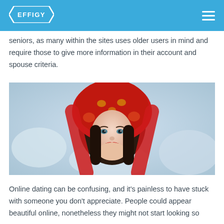EFFIGY
seniors, as many within the sites uses older users in mind and require those to give more information in their account and spouse criteria.
[Figure (photo): Portrait of a young woman with dark hair wearing a red decorative head scarf with floral patterns, looking directly at the camera. Background is blurred white/grey, suggesting a winter outdoor setting.]
Online dating can be confusing, and it's painless to have stuck with someone you don't appreciate. People could appear beautiful online, nonetheless they might not start looking so